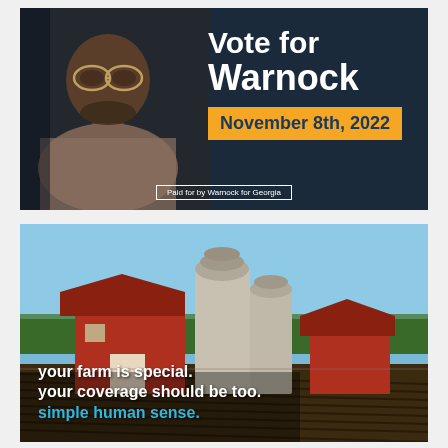[Figure (photo): Political campaign ad for Raphael Warnock showing his photo on a dark navy background with text 'Vote for Warnock' in white bold, 'November 8th, 2022' in an orange box, and 'Paid for by Warnock for Georgia' at the bottom]
[Figure (photo): Farm insurance advertisement showing a red barn and grain silos under a blue sky with text overlaid: 'your farm is special. your coverage should be too. simple human sense.' The last line is in blue.]